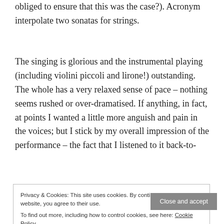obliged to ensure that this was the case?). Acronym interpolate two sonatas for strings.
The singing is glorious and the instrumental playing (including violini piccoli and lirone!) outstanding. The whole has a very relaxed sense of pace – nothing seems rushed or over-dramatised. If anything, in fact, at points I wanted a little more anguish and pain in the voices; but I stick by my overall impression of the performance – the fact that I listened to it back-to-
back a few times should give an idea.
Privacy & Cookies: This site uses cookies. By continuing to use this website, you agree to their use.
To find out more, including how to control cookies, see here: Cookie Policy
I'm afraid I didn't react in the same way to the booklet note. Firstly – and this is probably just me, so perhaps it's not even a point worth making – I found the